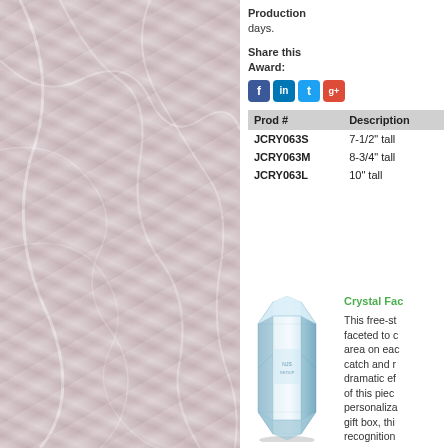[Figure (photo): Marble texture background image on the left side of the page, pink and white swirling pattern]
Production days.
Share this Award:
[Figure (illustration): Social media icons: Facebook, LinkedIn, Twitter, Google+]
| Prod # | Description |
| --- | --- |
| JCRY063S | 7-1/2" tall |
| JCRY063M | 8-3/4" tall |
| JCRY063L | 10" tall |
[Figure (photo): Crystal faceted trophy award, tall angular crystal piece with engraving area]
Crystal Fac
This free-st faceted to c area on eac catch and r dramatic ef of this piec personaliza gift box, thi recognition
Production days.